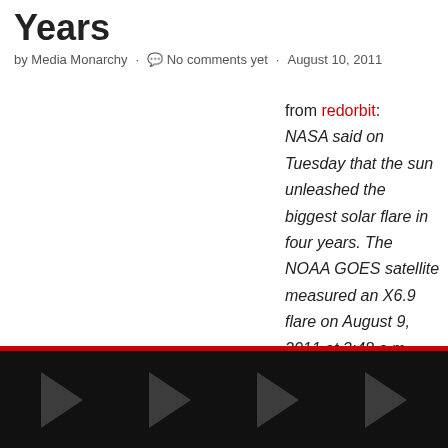Years
by Media Monarchy · No comments yet · August 10, 2011
from redorbit: NASA said on Tuesday that the sun unleashed the biggest solar flare in four years. The NOAA GOES satellite measured an X6.9 flare on August 9, 2011 at 3:48 a.m. EDT The bursts of radiation cannot pass through Earth's atmosphere to harm humans on the ground, but it
[Figure (other): Dark footer area with triangular arrow graphics on black background]